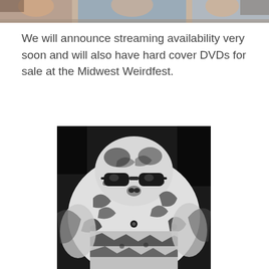[Figure (photo): Cropped top portion of a photo showing people, partially visible at top of page]
We will announce streaming availability very soon and will also have hard cover DVDs for sale at the Midwest Weirdfest.
[Figure (photo): High-contrast black and white photo of what appears to be a sloth or furry creature wearing sunglasses, with a textured patterned appearance]